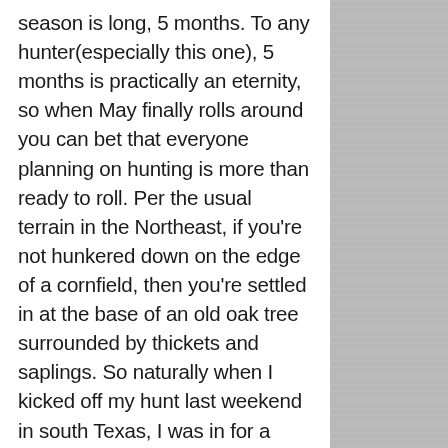season is long, 5 months. To any hunter(especially this one), 5 months is practically an eternity, so when May finally rolls around you can bet that everyone planning on hunting is more than ready to roll. Per the usual terrain in the Northeast, if you're not hunkered down on the edge of a cornfield, then you're settled in at the base of an old oak tree surrounded by thickets and saplings. So naturally when I kicked off my hunt last weekend in south Texas, I was in for a different game with much different terrain than ever before.
Having grown up hunting Eastern's, getting my first "real" glimpse of a Rio was simply incredible. Sure, I've seen Rio's driving in the truck, but hadn't